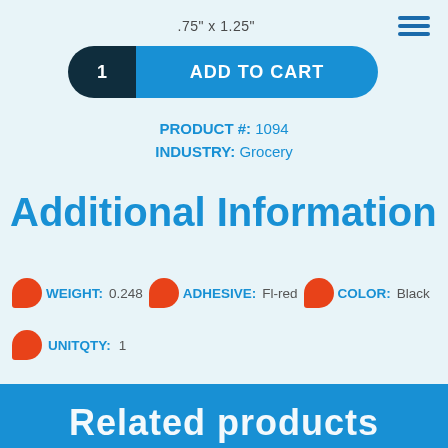.75" x 1.25"
1  ADD TO CART
PRODUCT #: 1094
INDUSTRY: Grocery
Additional Information
WEIGHT: 0.248  ADHESIVE: Fl-red  COLOR: Black
UNITQTY: 1
Related products